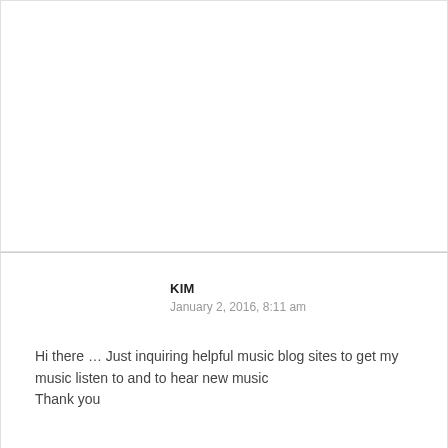KIM
January 2, 2016, 8:11 am
Hi there … Just inquiring helpful music blog sites to get my music listen to and to hear new music
Thank you